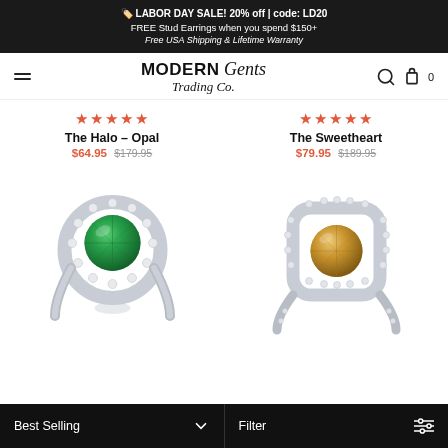🏷️ LABOR DAY SALE! 20% off | code: LD20
FREE Stud Earrings when you spend $150+
Free USA Shipping & Lifetime Warranty
[Figure (logo): Modern Gents Trading Co. logo with hamburger menu, search, and cart icons]
★★★★★ The Halo – Opal $64.95 $179.95
★★★★★ The Sweetheart $79.95 $189.95
[Figure (photo): Silver halo ring with round green opal center stone surrounded by small white diamonds]
[Figure (photo): Silver cushion halo ring with round champagne/brown center stone surrounded by small white diamonds]
Best Selling  ∨    Filter  ⊟